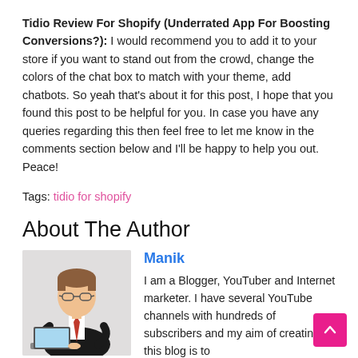Tidio Review For Shopify (Underrated App For Boosting Conversions?): I would recommend you to add it to your store if you want to stand out from the crowd, change the colors of the chat box to match with your theme, add chatbots. So yeah that's about it for this post, I hope that you found this post to be helpful for you. In case you have any queries regarding this then feel free to let me know in the comments section below and I'll be happy to help you out. Peace!
Tags: tidio for shopify
About The Author
[Figure (illustration): Cartoon illustration of a man in a suit and glasses working on a laptop]
Manik
I am a Blogger, YouTuber and Internet marketer. I have several YouTube channels with hundreds of subscribers and my aim of creating this blog is to help as many people as possible by providing free content